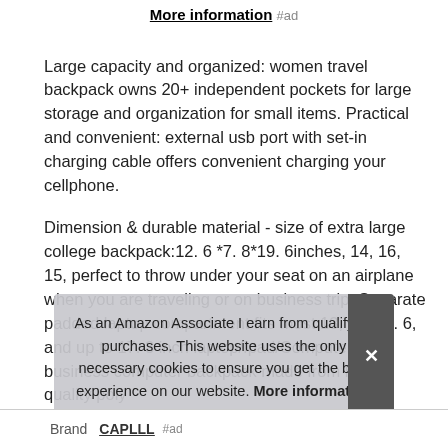More information #ad
Large capacity and organized: women travel backpack owns 20+ independent pockets for large storage and organization for small items. Practical and convenient: external usb port with set-in charging cable offers convenient charging your cellphone.
Dimension & durable material - size of extra large college backpack:12. 6 *7. 8*19. 6inches, 14, 16, 15, perfect to throw under your seat on an airplane when you are traveling or on business trip. Separate padded laptop compartment fits most 13, 17, 15. 6, and up to 17. 3 inch laptop/Ipad/Computer. The business computer backpack made from high quality poly bett
As an Amazon Associate I earn from qualifying purchases. This website uses the only necessary cookies to ensure you get the best experience on our website. More information
| Brand |  |
| --- | --- |
| Brand | CAPLLL #ad |